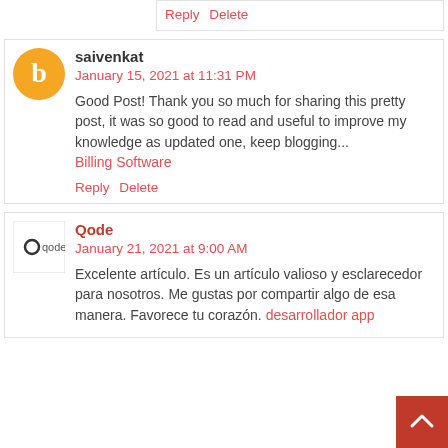compartino con nosotros. desarrollador de apps
Reply  Delete
saivenkat
January 15, 2021 at 11:31 PM
Good Post! Thank you so much for sharing this pretty post, it was so good to read and useful to improve my knowledge as updated one, keep blogging...
Billing Software
Reply  Delete
Qode
January 21, 2021 at 9:00 AM
Excelente artículo. Es un artículo valioso y esclarecedor para nosotros. Me gustas por compartir algo de esa manera. Favorece tu corazón. desarrollador app